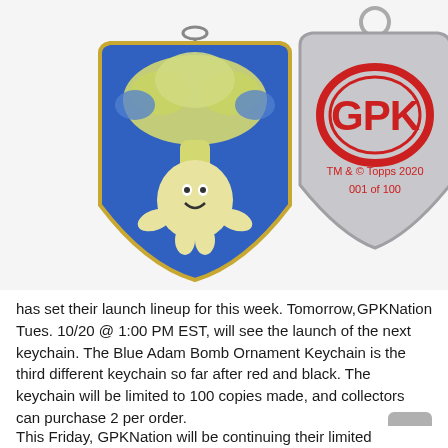[Figure (photo): Two GPK Garbage Pail Kids keychains. Left: Blue Adam Bomb ornament keychain showing front face with yellow character and blue mushroom cloud on blue shield background, with a chain loop at top. Right: Back side of keychain showing silver shield shape with red 'GPK' logo text, 'TM & © Topps 2020' and '001 of 100' text, with silver keyring at top.]
GPKNation has set their launch lineup for this week. Tomorrow, Tues. 10/20 @ 1:00 PM EST, will see the launch of the next keychain. The Blue Adam Bomb Ornament Keychain is the third different keychain so far after red and black. The keychain will be limited to 100 copies made, and collectors can purchase 2 per order.
This Friday, GPKNation will be continuing their limited...